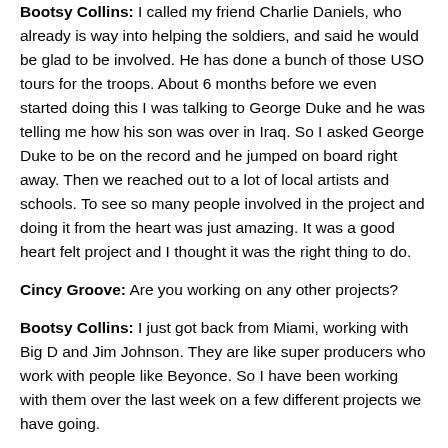Bootsy Collins: I called my friend Charlie Daniels, who already is way into helping the soldiers, and said he would be glad to be involved. He has done a bunch of those USO tours for the troops. About 6 months before we even started doing this I was talking to George Duke and he was telling me how his son was over in Iraq. So I asked George Duke to be on the record and he jumped on board right away. Then we reached out to a lot of local artists and schools. To see so many people involved in the project and doing it from the heart was just amazing. It was a good heart felt project and I thought it was the right thing to do.
Cincy Groove: Are you working on any other projects?
Bootsy Collins: I just got back from Miami, working with Big D and Jim Johnson. They are like super producers who work with people like Beyonce. So I have been working with them over the last week on a few different projects we have going.